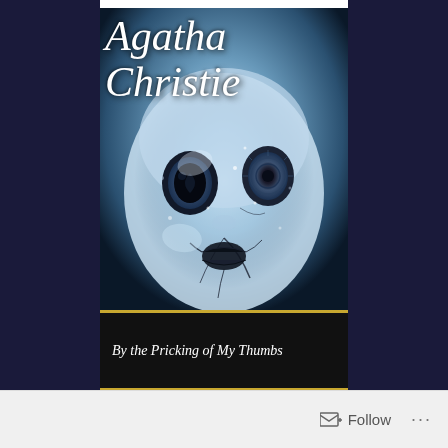[Figure (illustration): Book cover of 'By the Pricking of My Thumbs' by Agatha Christie. Features a close-up of a cracked, eerie porcelain doll face with dark hollow eyes against a blue-tinted background. 'Agatha Christie' is written in white cursive script at the top. A dark title bar at the bottom reads 'By the Pricking of My Thumbs' in italic serif font, separated from the image by a gold/bronze horizontal line.]
Follow